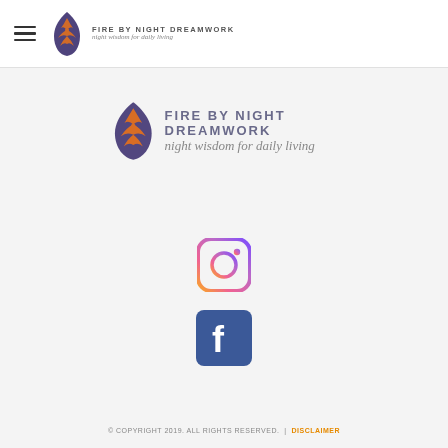FIRE BY NIGHT DREAMWORK night wisdom for daily living
[Figure (logo): Fire by Night Dreamwork logo — leaf/flame shaped emblem with orange filigree pattern, with text 'FIRE BY NIGHT DREAMWORK' and tagline 'night wisdom for daily living']
[Figure (logo): Instagram icon — gradient circle with camera outline (yellow to pink to purple gradient)]
[Figure (logo): Facebook icon — blue rounded square with white 'f' letterform]
© COPYRIGHT 2019. ALL RIGHTS RESERVED. | DISCLAIMER